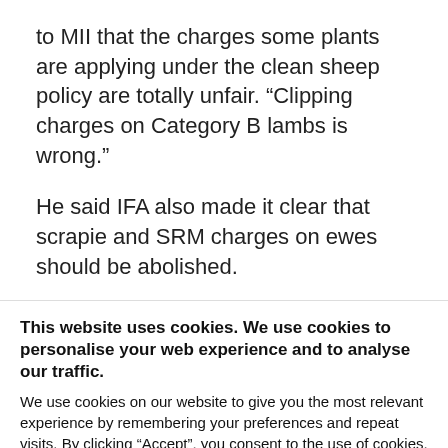to MII that the charges some plants are applying under the clean sheep policy are totally unfair. “Clipping charges on Category B lambs is wrong.”
He said IFA also made it clear that scrapie and SRM charges on ewes should be abolished.
This website uses cookies. We use cookies to personalise your web experience and to analyse our traffic. We use cookies on our website to give you the most relevant experience by remembering your preferences and repeat visits. By clicking “Accept”, you consent to the use of cookies.
Cookie settings  ACCEPT  REJECT